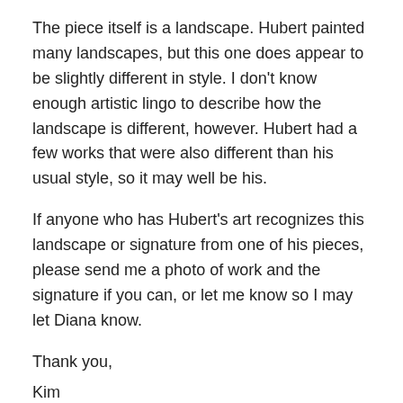The piece itself is a landscape. Hubert painted many landscapes, but this one does appear to be slightly different in style. I don’t know enough artistic lingo to describe how the landscape is different, however. Hubert had a few works that were also different than his usual style, so it may well be his.
If anyone who has Hubert’s art recognizes this landscape or signature from one of his pieces, please send me a photo of work and the signature if you can, or let me know so I may let Diana know.
Thank you,
Kim
Share this: